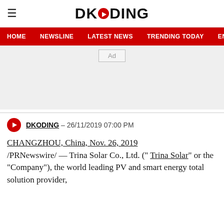DKODING
HOME  NEWSLINE  LATEST NEWS  TRENDING TODAY  ENT
[Figure (other): Advertisement placeholder box with 'Ad' label]
DKODING - 26/11/2019 07:00 PM
CHANGZHOU, China, Nov. 26, 2019 /PRNewswire/ — Trina Solar Co., Ltd. ("Trina Solar" or the "Company"), the world leading PV and smart energy total solution provider,